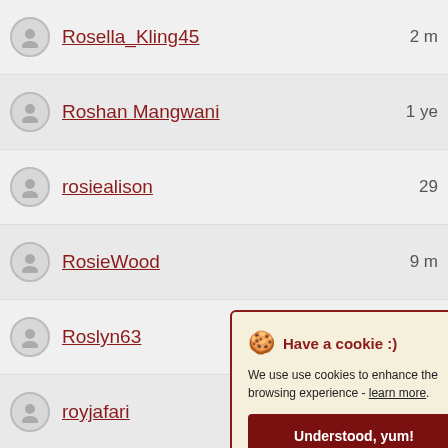Rosella_Kling45 2 m
Roshan Mangwani 1 ye
rosiealison 29
RosieWood 9 m
Roslyn63 1 m
royjafari 1 m
royleah 8 m
ROZ 1 ye
Rubysere m
ruhul ye
RupertWiza m
ruslik 10
Have a cookie :) We use use cookies to enhance the browsing experience - learn more. Understood, yum!